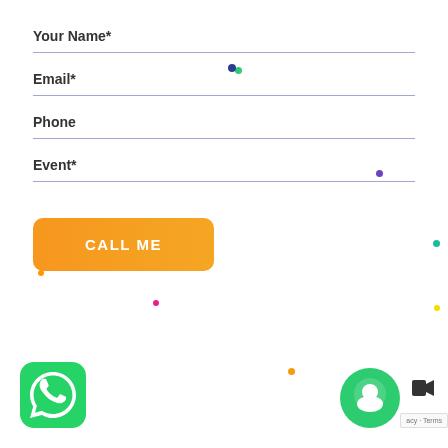Your Name*
Email*
Phone
Event*
CALL ME
[Figure (logo): WhatsApp logo icon - green rounded square with white phone handset speech bubble]
[Figure (logo): Green circular chat bubble icon with white person silhouette]